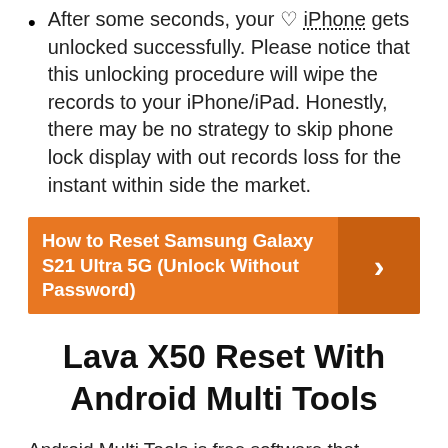After some seconds, your iPhone gets unlocked successfully. Please notice that this unlocking procedure will wipe the records to your iPhone/iPad. Honestly, there may be no strategy to skip phone lock display with out records loss for the instant within side the market.
[Figure (other): Orange banner with text 'How to Reset Samsung Galaxy S21 Ultra 5G (Unlock Without Password)' and a right-arrow button on the right side]
Lava X50 Reset With Android Multi Tools
Android Multi Tools is free software that Android users can use to unlock patterns, PIN,